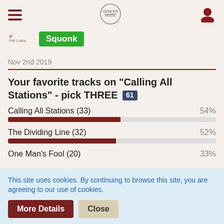Navigation header with hamburger menu, site logo, and user icon
Squonk
Nov 2nd 2019
Your favorite tracks on "Calling All Stations" - pick THREE 61
[Figure (bar-chart): Your favorite tracks on Calling All Stations]
This site uses cookies. By continuing to browse this site, you are agreeing to our use of cookies.